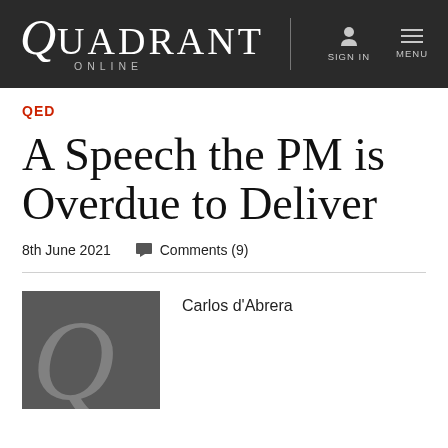Quadrant Online | SIGN IN | MENU
QED
A Speech the PM is Overdue to Deliver
8th June 2021   Comments (9)
[Figure (illustration): Quadrant Q logo in grey on dark grey square background]
Carlos d'Abrera